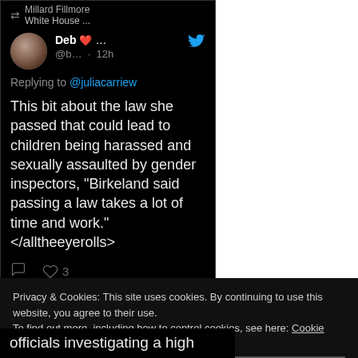Millard Fillmore White House ...
Deb ❤️ ... @b... · 12h
Replying to @juliacarriew
This bit about the law she passed that could lead to children being harassed and sexually assaulted by gender inspectors, "Birkeland said passing a law takes a lot of time and work." </alltheeyerolls>
Privacy & Cookies: This site uses cookies. By continuing to use this website, you agree to their use. To find out more, including how to control cookies, see here: Cookie Policy
Close and accept
officials investigating a high